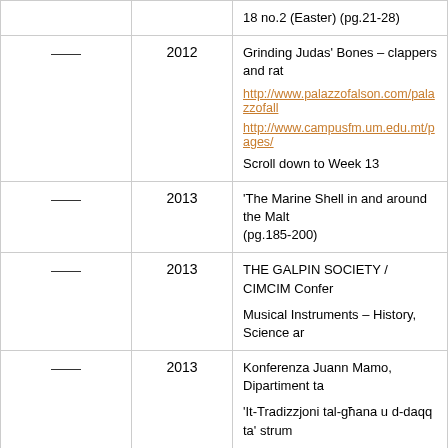|  | Year | Description |
| --- | --- | --- |
|  |  | 18 no.2 (Easter) (pg.21-28) |
| —– | 2012 | Grinding Judas' Bones – clappers and rat...
http://www.palazzofalson.com/palazzofall...
http://www.campusfm.um.edu.mt/pages/...
Scroll down to Week 13 |
| —– | 2013 | 'The Marine Shell in and around the Malt... (pg.185-200) |
| —– | 2013 | THE GALPIN SOCIETY / CIMCIM Confer...
Musical Instruments – History, Science ar... |
| —– | 2013 | Konferenza Juann Mamo, Dipartiment ta...
'It-Tradizzjoni tal-ghana u d-daqq ta' strum... |